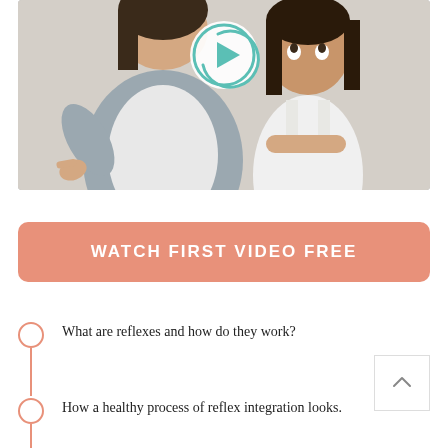[Figure (photo): Photo of a woman gesturing with her hand and a young girl with arms crossed, looking upward. A circular play button icon is overlaid in the center-top of the image.]
WATCH FIRST VIDEO FREE
What are reflexes and how do they work?
How a healthy process of reflex integration looks.